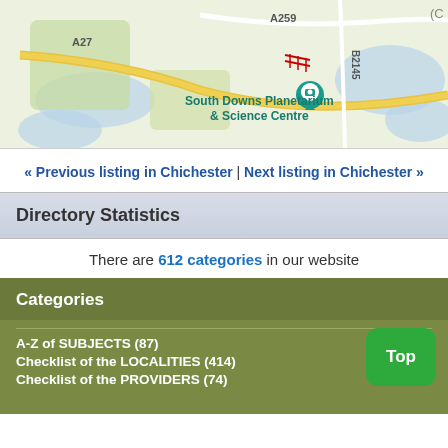[Figure (map): Map showing South Downs Planetarium & Science Centre with roads A27, A259, B2145 and surrounding green/blue areas with a location pin marker.]
« Previous listing in Chichester | Next listing in Chichester »
Directory Statistics
There are 612 categories in our website
Categories
A-Z of SUBJECTS (87)
Checklist of the LOCALITIES (414)
Checklist of the PROVIDERS (74)